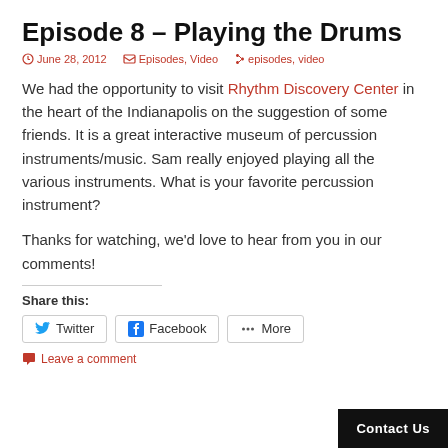Episode 8 – Playing the Drums
June 28, 2012  Episodes, Video  episodes, video
We had the opportunity to visit Rhythm Discovery Center in the heart of the Indianapolis on the suggestion of some friends. It is a great interactive museum of percussion instruments/music. Sam really enjoyed playing all the various instruments. What is your favorite percussion instrument?
Thanks for watching, we'd love to hear from you in our comments!
Share this:
Twitter  Facebook  More
Leave a comment